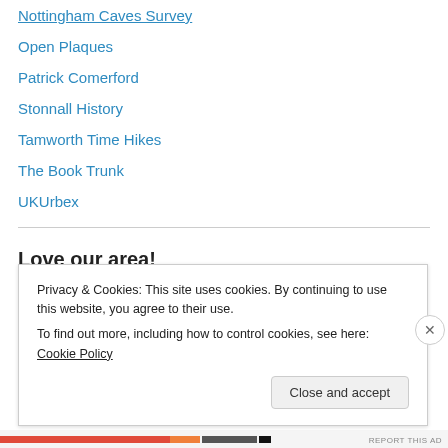Nottingham Caves Survey
Open Plaques
Patrick Comerford
Stonnall History
Tamworth Time Hikes
The Book Trunk
UKUrbex
Love our area!
#365daysofbiking
Adventures in Lichfield
Beacon St Blog
Privacy & Cookies: This site uses cookies. By continuing to use this website, you agree to their use.
To find out more, including how to control cookies, see here: Cookie Policy
Close and accept